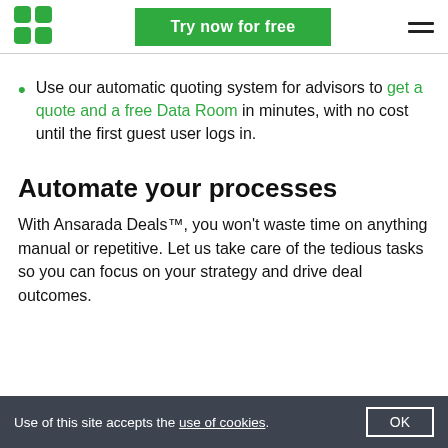Try now for free
Use our automatic quoting system for advisors to get a quote and a free Data Room in minutes, with no cost until the first guest user logs in.
Automate your processes
With Ansarada Deals™, you won't waste time on anything manual or repetitive. Let us take care of the tedious tasks so you can focus on your strategy and drive deal outcomes.
Use of this site accepts the use of cookies. OK